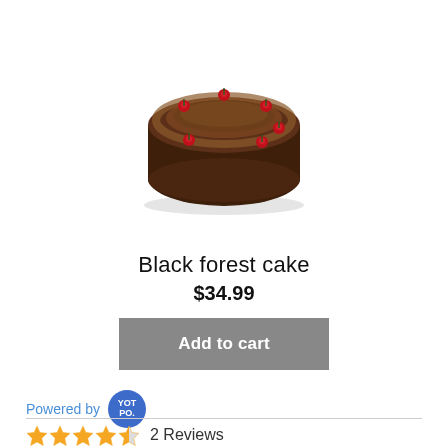[Figure (photo): Black forest cake with chocolate frosting, chocolate shavings on sides, and red cherries on top, viewed from slightly above.]
Black forest cake
$34.99
Add to cart
Powered by YOTPO.
2 Reviews